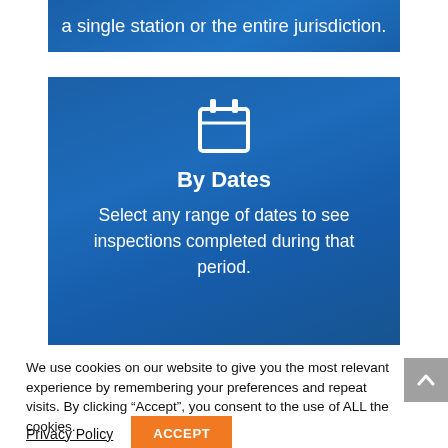a single station or the entire jurisdiction.
[Figure (infographic): Blue card with a calendar icon, title 'By Dates', and description text about selecting date ranges for inspections.]
We use cookies on our website to give you the most relevant experience by remembering your preferences and repeat visits. By clicking “Accept”, you consent to the use of ALL the cookies.
Privacy Policy
ACCEPT